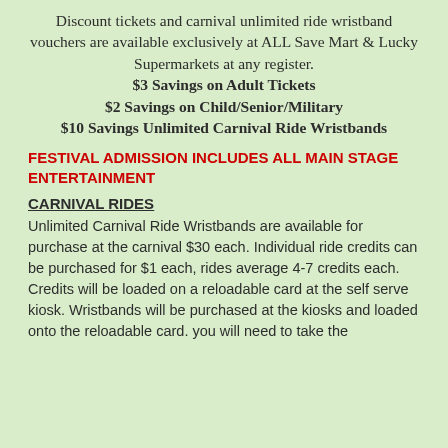Discount tickets and carnival unlimited ride wristband vouchers are available exclusively at ALL Save Mart & Lucky Supermarkets at any register. $3 Savings on Adult Tickets $2 Savings on Child/Senior/Military $10 Savings Unlimited Carnival Ride Wristbands
FESTIVAL ADMISSION INCLUDES ALL MAIN STAGE ENTERTAINMENT
CARNIVAL RIDES
Unlimited Carnival Ride Wristbands are available for purchase at the carnival $30 each. Individual ride credits can be purchased for $1 each, rides average 4-7 credits each. Credits will be loaded on a reloadable card at the self serve kiosk. Wristbands will be purchased at the kiosks and loaded onto the reloadable card. you will need to take the